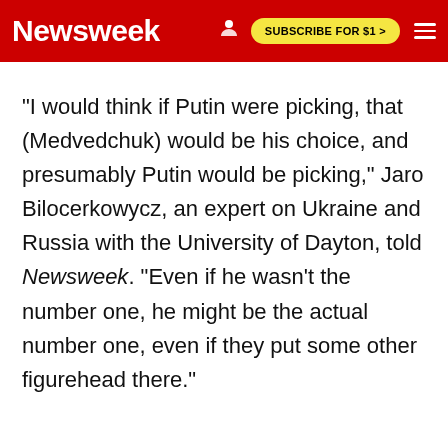Newsweek | SUBSCRIBE FOR $1 >
"I would think if Putin were picking, that (Medvedchuk) would be his choice, and presumably Putin would be picking," Jaro Bilocerkowycz, an expert on Ukraine and Russia with the University of Dayton, told Newsweek. "Even if he wasn't the number one, he might be the actual number one, even if they put some other figurehead there."